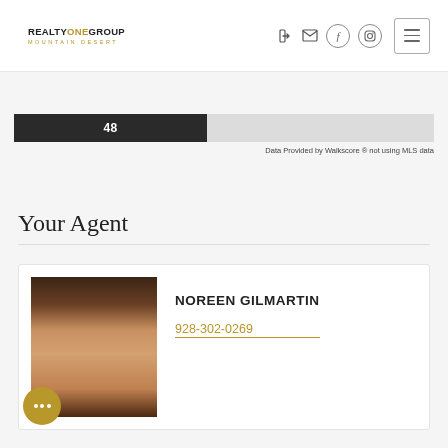REALTY ONE GROUP MOUNTAIN DESERT — navigation with icons and hamburger menu
[Figure (infographic): Walk score bar showing 48 out of 100, dark filled bar on left, light gray empty bar on right]
Data Provided by Walkscore ® not using MLS data
Your Agent
NOREEN GILMARTIN
928-302-0269